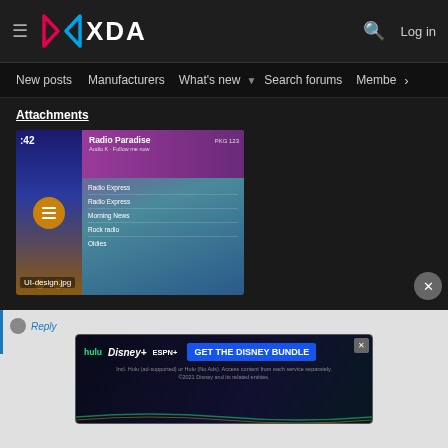XDA Developers — New posts | Manufacturers | What's new | Search forums | Members
Attachments
[Figure (screenshot): Screenshot of a radio app UI showing 'Radio Paradise' as the now playing station with a menu showing Radio Express, Morning News, Rock Radio, Oldies options. Time shown as :42.]
UI-design.jpg
[Figure (screenshot): Disney Bundle advertisement banner showing Hulu, Disney+, and ESPN+ logos with 'GET THE DISNEY BUNDLE' call to action. Fine print: Incl. Hulu (ad-supported) or Hulu (No Ads). Access content from each service separately. ©2021 Disney and its related entities.]